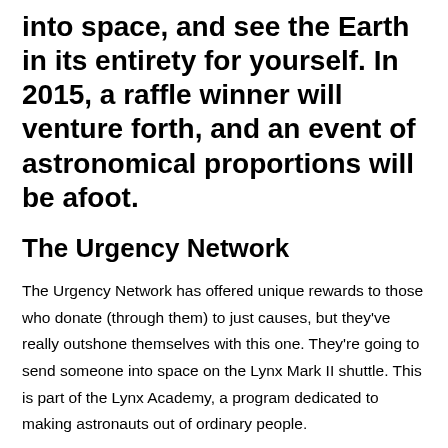into space, and see the Earth in its entirety for yourself. In 2015, a raffle winner will venture forth, and an event of astronomical proportions will be afoot.
The Urgency Network
The Urgency Network has offered unique rewards to those who donate (through them) to just causes, but they've really outshone themselves with this one. They're going to send someone into space on the Lynx Mark II shuttle. This is part of the Lynx Academy, a program dedicated to making astronauts out of ordinary people.
The lowest donation allowed is $10, so feasibly for $10, you could “fly to the Moon”. Even Jet Blue can’t compete with that